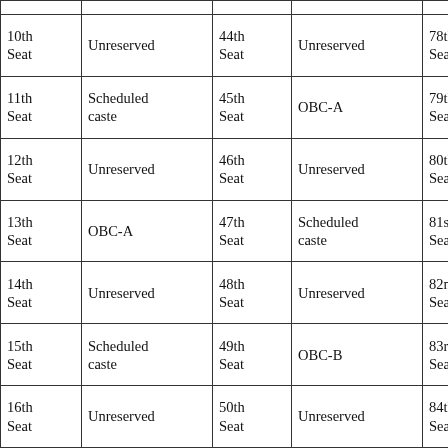| 10th Seat | Unreserved | 44th Seat | Unreserved | 78th Seat | Schedule caste |
| 11th Seat | Scheduled caste | 45th Seat | OBC-A | 79th Seat | Unreserved |
| 12th Seat | Unreserved | 46th Seat | Unreserved | 80th Seat | Unreserved |
| 13th Seat | OBC-A | 47th Seat | Scheduled caste | 81st Seat | Unreserved |
| 14th Seat | Unreserved | 48th Seat | Unreserved | 82nd Seat | Scheduled caste |
| 15th Seat | Scheduled caste | 49th Seat | OBC-B | 83rd Seat | Unreserved |
| 16th Seat | Unreserved | 50th Seat | Unreserved | 84th Seat | OBC-A |